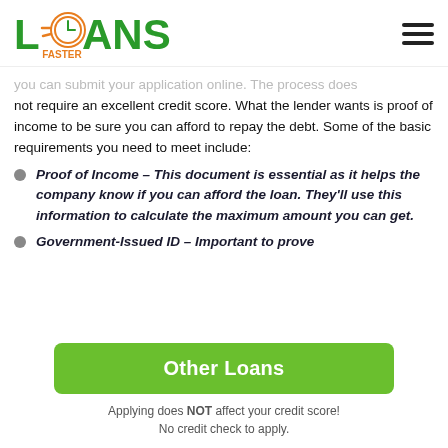[Figure (logo): Loans Faster logo with green text and orange clock icon, plus hamburger menu icon on the right]
you can submit your application online. The process does not require an excellent credit score. What the lender wants is proof of income to be sure you can afford to repay the debt. Some of the basic requirements you need to meet include:
Proof of Income – This document is essential as it helps the company know if you can afford the loan. They'll use this information to calculate the maximum amount you can get.
Government-Issued ID – Important to prove
Other Loans
Applying does NOT affect your credit score!
No credit check to apply.